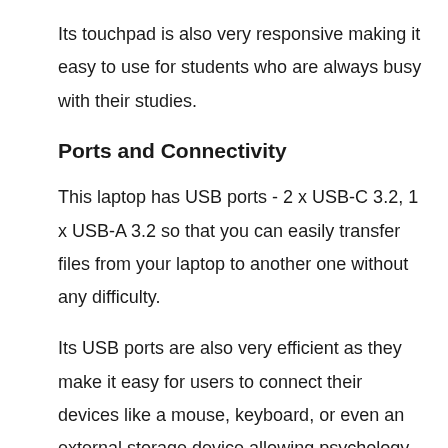Its touchpad is also very responsive making it easy to use for students who are always busy with their studies.
Ports and Connectivity
This laptop has USB ports - 2 x USB-C 3.2, 1 x USB-A 3.2 so that you can easily transfer files from your laptop to another one without any difficulty.
Its USB ports are also very efficient as they make it easy for users to connect their devices like a mouse, keyboard, or even an external storage device allowing psychology students who have this laptop to